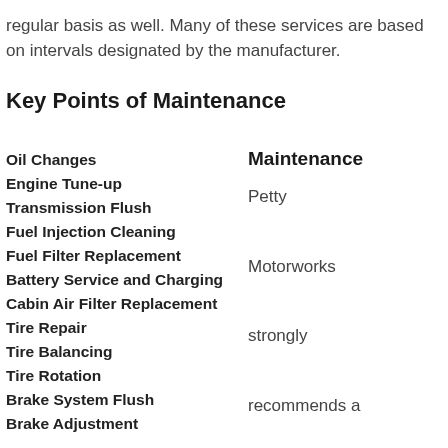regular basis as well. Many of these services are based on intervals designated by the manufacturer.
Key Points of Maintenance
Oil Changes
Engine Tune-up
Transmission Flush
Fuel Injection Cleaning
Fuel Filter Replacement
Battery Service and Charging
Cabin Air Filter Replacement
Tire Repair
Tire Balancing
Tire Rotation
Brake System Flush
Brake Adjustment
Maintenance

Petty Motorworks strongly recommends a regular maintenance schedule if you want to keep